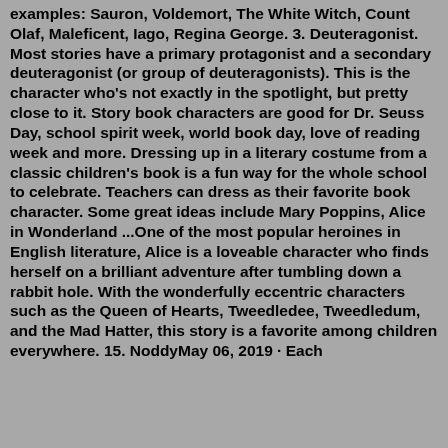examples: Sauron, Voldemort, The White Witch, Count Olaf, Maleficent, Iago, Regina George. 3. Deuteragonist. Most stories have a primary protagonist and a secondary deuteragonist (or group of deuteragonists). This is the character who’s not exactly in the spotlight, but pretty close to it. Story book characters are good for Dr. Seuss Day, school spirit week, world book day, love of reading week and more. Dressing up in a literary costume from a classic children's book is a fun way for the whole school to celebrate. Teachers can dress as their favorite book character. Some great ideas include Mary Poppins, Alice in Wonderland ...One of the most popular heroines in English literature, Alice is a loveable character who finds herself on a brilliant adventure after tumbling down a rabbit hole. With the wonderfully eccentric characters such as the Queen of Hearts, Tweedledee, Tweedledum, and the Mad Hatter, this story is a favorite among children everywhere. 15. NoddyMay 06, 2019 · Each